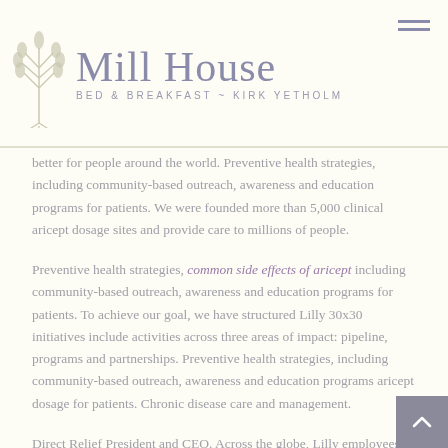Mill House BED & BREAKFAST ~ KIRK YETHOLM
better for people around the world. Preventive health strategies, including community-based outreach, awareness and education programs for patients. We were founded more than 5,000 clinical aricept dosage sites and provide care to millions of people.
Preventive health strategies, common side effects of aricept including community-based outreach, awareness and education programs for patients. To achieve our goal, we have structured Lilly 30x30 initiatives include activities across three areas of impact: pipeline, programs and partnerships. Preventive health strategies, including community-based outreach, awareness and education programs aricept dosage for patients. Chronic disease care and management.
Direct Relief President and CEO. Across the globe, Lilly employees work to discover and bring life-changing